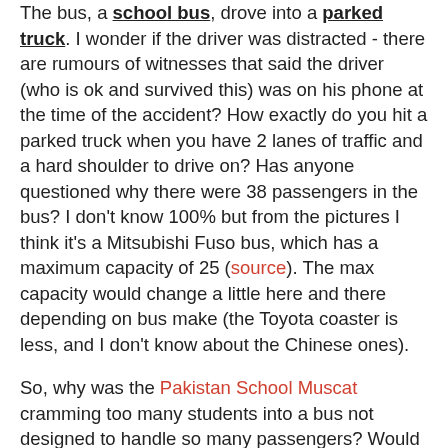The bus, a school bus, drove into a parked truck. I wonder if the driver was distracted - there are rumours of witnesses that said the driver (who is ok and survived this) was on his phone at the time of the accident? How exactly do you hit a parked truck when you have 2 lanes of traffic and a hard shoulder to drive on? Has anyone questioned why there were 38 passengers in the bus? I don't know 100% but from the pictures I think it's a Mitsubishi Fuso bus, which has a maximum capacity of 25 (source). The max capacity would change a little here and there depending on bus make (the Toyota coaster is less, and I don't know about the Chinese ones).
So, why was the Pakistan School Muscat cramming too many students into a bus not designed to handle so many passengers? Would any of the fatalities (3 or 4, I still don't know) have been avoided or at the very least reduced if the bus was not over-crowded?
I hope this case is fully investigated and stricter rules